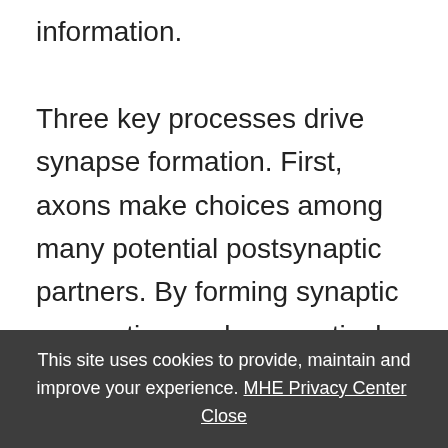information.

Three key processes drive synapse formation. First, axons make choices among many potential postsynaptic partners. By forming synaptic connections only on particular target cells, neurons assemble functional circuits that can process information. In many cases, synapses are even formed at specific sites on the postsynaptic cell; some types of axons form synapses on dendrites,
This site uses cookies to provide, maintain and improve your experience. MHE Privacy Center  Close